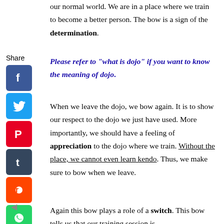our normal world. We are in a place where we train to become a better person. The bow is a sign of the determination.
Please refer to "what is dojo" if you want to know the meaning of dojo.
When we leave the dojo, we bow again. It is to show our respect to the dojo we just have used. More importantly, we should have a feeling of appreciation to the dojo where we train. Without the place, we cannot even learn kendo. Thus, we make sure to bow when we leave.
Again this bow plays a role of a switch. This bow tells us that our training session is